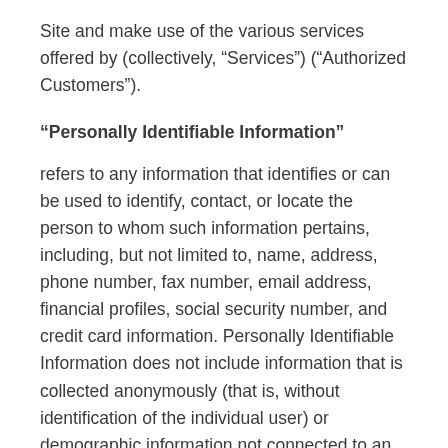Site and make use of the various services offered by (collectively, “Services”) (“Authorized Customers”).
“Personally Identifiable Information”
refers to any information that identifies or can be used to identify, contact, or locate the person to whom such information pertains, including, but not limited to, name, address, phone number, fax number, email address, financial profiles, social security number, and credit card information. Personally Identifiable Information does not include information that is collected anonymously (that is, without identification of the individual user) or demographic information not connected to an identified individual.